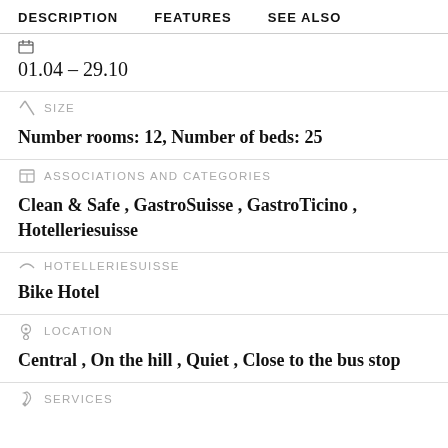DESCRIPTION   FEATURES   SEE ALSO
01.04 – 29.10
SIZE
Number rooms: 12, Number of beds: 25
ASSOCIATIONS AND CATEGORIES
Clean & Safe , GastroSuisse , GastroTicino , Hotelleriesuisse
HOTELLERIESUISSE
Bike Hotel
LOCATION
Central , On the hill , Quiet , Close to the bus stop
SERVICES